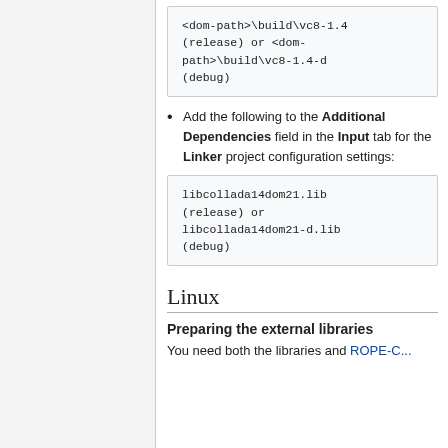<dom-path>\build\vc8-1.4(release) or <dom-path>\build\vc8-1.4-d(debug)
Add the following to the Additional Dependencies field in the Input tab for the Linker project configuration settings:
libcollada14dom21.lib (release) or libcollada14dom21-d.lib (debug)
Linux
Preparing the external libraries
You need both the libraries and POPE-C...